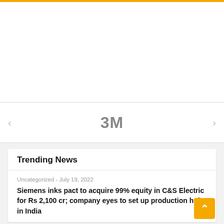[Figure (logo): 3M company logo in gray text]
Trending News
Uncategorized - July 19, 2022
Siemens inks pact to acquire 99% equity in C&S Electric for Rs 2,100 cr; company eyes to set up production hub in India